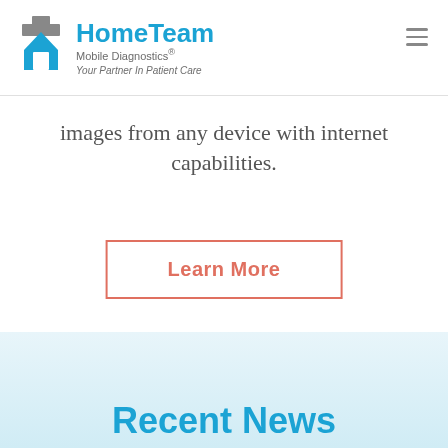HomeTeam Mobile Diagnostics® — Your Partner In Patient Care
images from any device with internet capabilities.
Learn More
Recent News